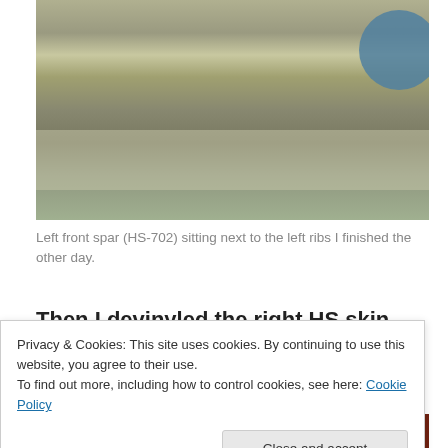[Figure (photo): Photo of a white metal shelf/cart with boxes on top, sitting on a blue-grey floor. A blue circular object is visible in the upper right.]
Left front spar (HS-702) sitting next to the left ribs I finished the other day.
Then I devinyled the right HS skin, which went much faster than the left skin.
[Figure (photo): Partial photo showing a dark surface with colorful items visible at the right edge.]
Privacy & Cookies: This site uses cookies. By continuing to use this website, you agree to their use.
To find out more, including how to control cookies, see here: Cookie Policy